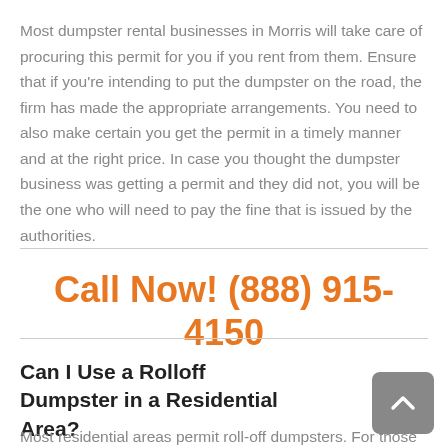Most dumpster rental businesses in Morris will take care of procuring this permit for you if you rent from them. Ensure that if you're intending to put the dumpster on the road, the firm has made the appropriate arrangements. You need to also make certain you get the permit in a timely manner and at the right price. In case you thought the dumpster business was getting a permit and they did not, you will be the one who will need to pay the fine that is issued by the authorities.
Call Now! (888) 915-4150
Can I Use a Rolloff Dumpster in a Residential Area?
Most residential areas permit roll-off dumpsters. For those who